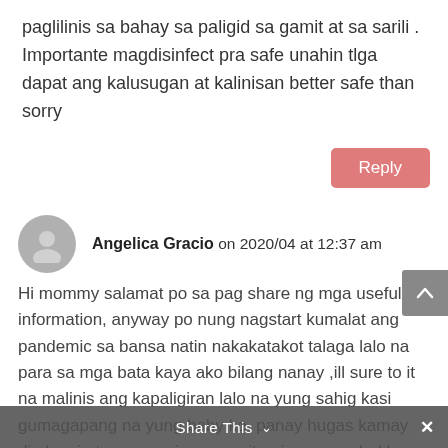paglilinis sa bahay sa paligid sa gamit at sa sarili . Importante magdisinfect pra safe unahin tlga dapat ang kalusugan at kalinisan better safe than sorry
Reply
Angelica Gracio on 2020/04 at 12:37 am
Hi mommy salamat po sa pag share ng mga useful information, anyway po nung nagstart kumalat ang pandemic sa bansa natin nakakatakot talaga lalo na para sa mga bata kaya ako bilang nanay ,ill sure to it na malinis ang kapaligiran lalo na yung sahig kasi gumagapang na yung baby ko, panay hugas kamay din kami at syempre inum ng vitamin c, mapalad lang ako kasi may mga gulay kami
Share This ×